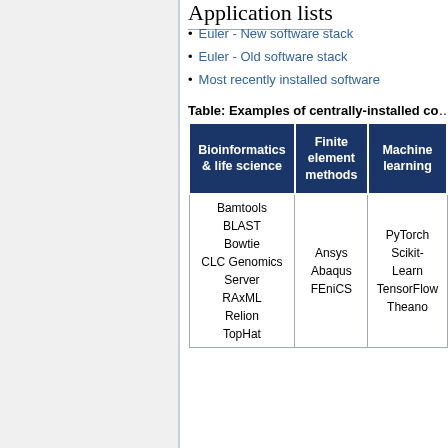Application lists
Euler - New software stack
Euler - Old software stack
Most recently installed software
Table: Examples of centrally-installed co...
| Bioinformatics & life science | Finite element methods | Machine learning |
| --- | --- | --- |
| Bamtools
BLAST
Bowtie
CLC Genomics Server
RAxML
Relion
TopHat | Ansys
Abaqus
FEniCS | PyTorch
Scikit-Learn
TensorFlow
Theano |